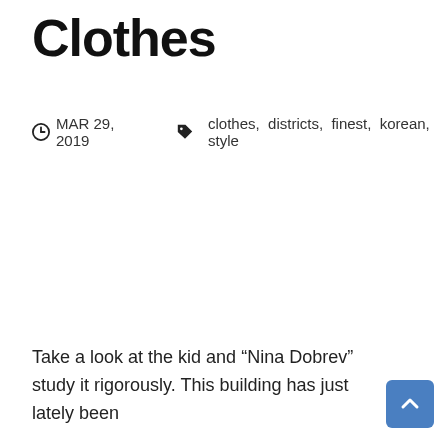Clothes
MAR 29, 2019   clothes, districts, finest, korean, style
Take a look at the kid and “Nina Dobrev” study it rigorously. This building has just lately been